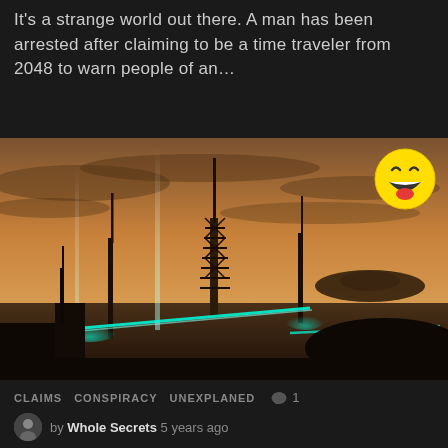It's a strange world out there. A man has been arrested after claiming to be a time traveler from 2048 to warn people of an…
[Figure (illustration): Science fiction illustration showing futuristic structures with laser beams and a UFO/spacecraft silhouetted against a warm orange sunset sky with dramatic lighting and glowing teal beams]
[Figure (illustration): Laughing/XD emoji face — yellow circle with big grin, closed eyes from laughing, open mouth with red tongue]
CLAIMS  CONSPIRACY  UNEXPLANED  💬 1
by Whole Secrets 5 years ago